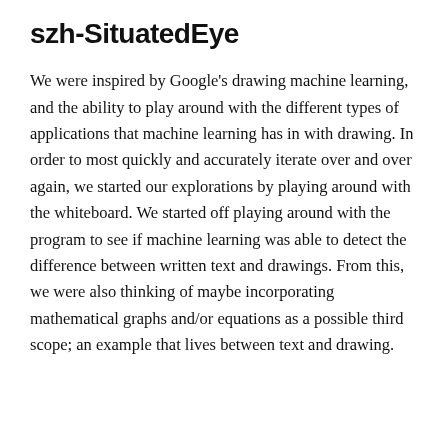szh-SituatedEye
We were inspired by Google's drawing machine learning, and the ability to play around with the different types of applications that machine learning has in with drawing. In order to most quickly and accurately iterate over and over again, we started our explorations by playing around with the whiteboard. We started off playing around with the program to see if machine learning was able to detect the difference between written text and drawings. From this, we were also thinking of maybe incorporating mathematical graphs and/or equations as a possible third scope; an example that lives between text and drawing.